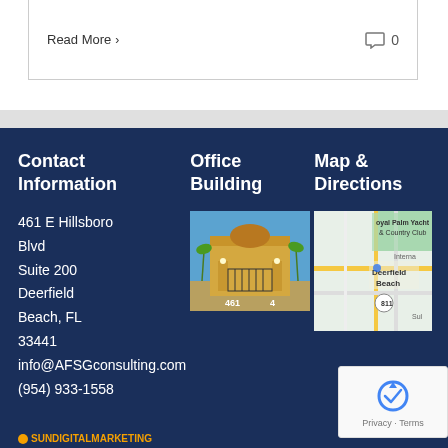Read More >
0
Contact Information
Office Building
Map & Directions
461 E Hillsboro Blvd
Suite 200
Deerfield Beach, FL
33441
info@AFSGconsulting.com
(954) 933-1558
[Figure (photo): Photo of office building entrance with yellow facade and iron gate]
[Figure (map): Map showing Deerfield Beach area near Royal Palm Yacht & Country Club, with route 811 visible]
SUNDIGITALMARKETING